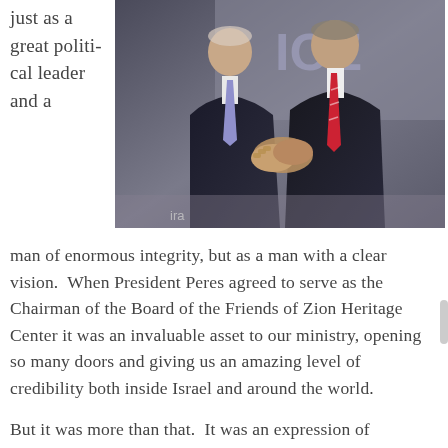just as a great political leader and a
[Figure (photo): Two men in suits shaking hands outdoors, with partial text 'IOZ' visible in background. One man in dark suit with purple tie, other in dark suit with red striped tie.]
man of enormous integrity, but as a man with a clear vision.  When President Peres agreed to serve as the Chairman of the Board of the Friends of Zion Heritage Center it was an invaluable asset to our ministry, opening so many doors and giving us an amazing level of credibility both inside Israel and around the world.
But it was more than that.  It was an expression of President Peres' genuine and